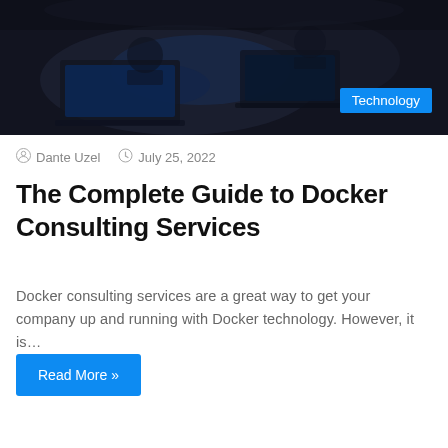[Figure (photo): Dark background photo showing people working at laptops with blue ambient lighting, with a cyan/blue Technology badge overlay in the bottom-right corner]
Dante Uzel  July 25, 2022
The Complete Guide to Docker Consulting Services
Docker consulting services are a great way to get your company up and running with Docker technology. However, it is…
Read More »